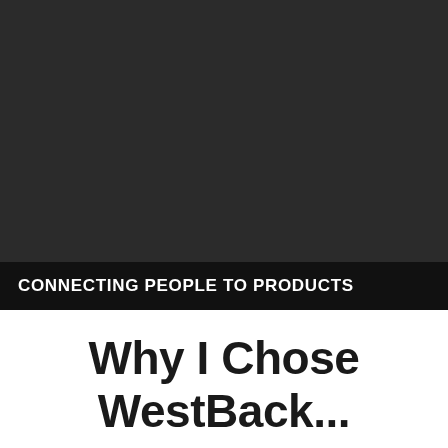[Figure (photo): Dark background image occupying the upper portion of the page]
CONNECTING PEOPLE TO PRODUCTS
Why I Chose WestBack...